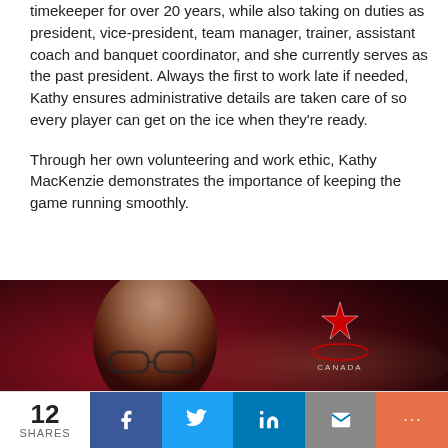timekeeper for over 20 years, while also taking on duties as president, vice-president, team manager, trainer, assistant coach and banquet coordinator, and she currently serves as the past president. Always the first to work late if needed, Kathy ensures administrative details are taken care of so every player can get on the ice when they're ready.
Through her own volunteering and work ethic, Kathy MacKenzie demonstrates the importance of keeping the game running smoothly.
[Figure (photo): Photo of a woman with glasses against a dark red Hockey Canada background, with Team Canada maple leaf logo visible and partial text 'HAL LEWIS' at bottom right]
12 SHARES | Facebook | Twitter | LinkedIn | Email | More